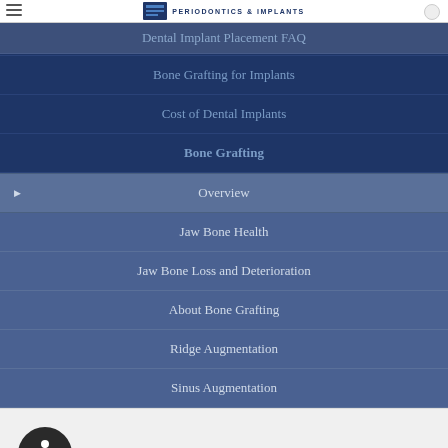PERIODONTICS & IMPLANTS
Dental Implant Placement FAQ
Bone Grafting for Implants
Cost of Dental Implants
Bone Grafting
Overview
Jaw Bone Health
Jaw Bone Loss and Deterioration
About Bone Grafting
Ridge Augmentation
Sinus Augmentation